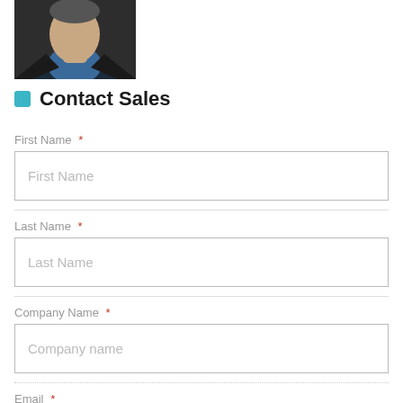[Figure (photo): Headshot photo of a man in a dark blazer and blue shirt, cropped at shoulders]
Contact Sales
First Name *
First Name (placeholder)
Last Name *
Last Name (placeholder)
Company Name *
Company name (placeholder)
Email *